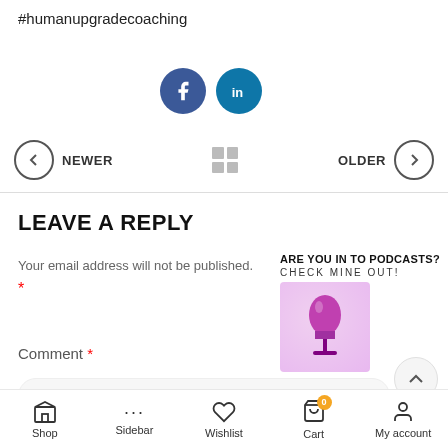#humanupgradecoaching
[Figure (illustration): Facebook and LinkedIn social share buttons as circular icons]
[Figure (infographic): Navigation row with left arrow NEWER, grid icon, and OLDER right arrow]
LEAVE A REPLY
Your email address will not be published.
*
[Figure (illustration): Podcast promotion banner: ARE YOU IN TO PODCASTS? CHECK MINE OUT! with microphone icon]
Comment *
Shop  Sidebar  Wishlist  Cart  My account